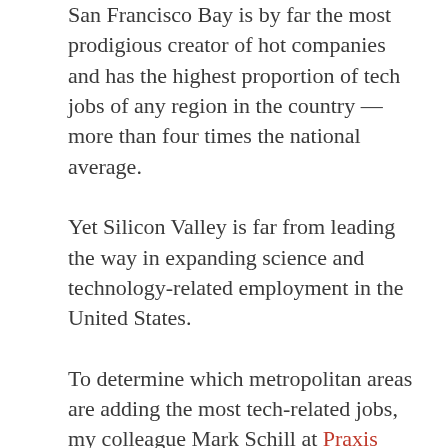San Francisco Bay is by far the most prodigious creator of hot companies and has the highest proportion of tech jobs of any region in the country — more than four times the national average.
Yet Silicon Valley is far from leading the way in expanding science and technology-related employment in the United States.
To determine which metropolitan areas are adding the most tech-related jobs, my colleague Mark Schill at Praxis Strategy Group developed a ranking system for Forbes that measures employment growth in the sectors most identified with the high-tech economy (including software, data processing and Internet publishing), as well as growth in science, technology, engineering and mathematics-related (STEM) jobs across all sectors. The latter